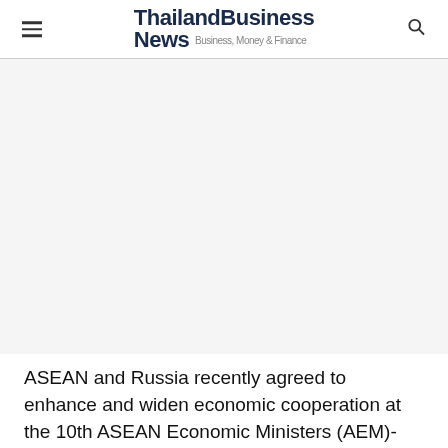ThailandBusinessNews Business, Money & Finance
[Figure (other): Advertisement / blank area placeholder below header]
ASEAN and Russia recently agreed to enhance and widen economic cooperation at the 10th ASEAN Economic Ministers (AEM)-Russia Consultations held in September 2021, including by adopting a